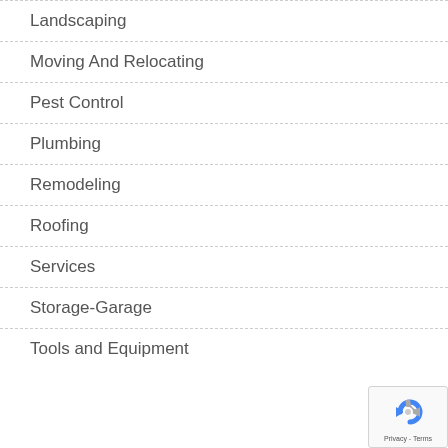Landscaping
Moving And Relocating
Pest Control
Plumbing
Remodeling
Roofing
Services
Storage-Garage
Tools and Equipment
[Figure (logo): reCAPTCHA badge with Google logo and Privacy - Terms text]